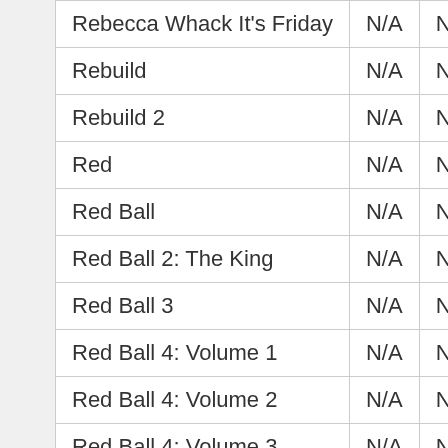| Name | Col2 | Col3 |
| --- | --- | --- |
| Rebecca Whack It's Friday | N/A | N |
| Rebuild | N/A | N |
| Rebuild 2 | N/A | N |
| Red | N/A | N |
| Red Ball | N/A | N |
| Red Ball 2: The King | N/A | N |
| Red Ball 3 | N/A | N |
| Red Ball 4: Volume 1 | N/A | N |
| Red Ball 4: Volume 2 | N/A | N |
| Red Ball 4: Volume 3 | N/A | N |
| Red Baron | N/A | N |
| Red Code | N/A | N |
| Red Driver 2 | N/A | N |
| Red Moon | N/A | N |
| Red Remover | N/A | N |